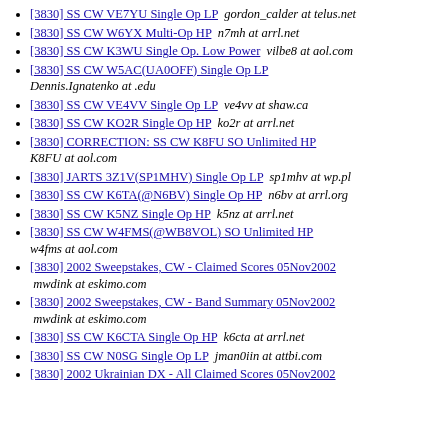[3830] SS CW VE7YU Single Op LP  gordon_calder at telus.net
[3830] SS CW W6YX Multi-Op HP  n7mh at arrl.net
[3830] SS CW K3WU Single Op. Low Power  vilbe8 at aol.com
[3830] SS CW W5AC(UA0OFF) Single Op LP  Dennis.Ignatenko at .edu
[3830] SS CW VE4VV Single Op LP  ve4vv at shaw.ca
[3830] SS CW KO2R Single Op HP  ko2r at arrl.net
[3830] CORRECTION: SS CW K8FU SO Unlimited HP  K8FU at aol.com
[3830] JARTS 3Z1V(SP1MHV) Single Op LP  sp1mhv at wp.pl
[3830] SS CW K6TA(@N6BV) Single Op HP  n6bv at arrl.org
[3830] SS CW K5NZ Single Op HP  k5nz at arrl.net
[3830] SS CW W4FMS(@WB8VOL) SO Unlimited HP  w4fms at aol.com
[3830] 2002 Sweepstakes, CW - Claimed Scores 05Nov2002  mwdink at eskimo.com
[3830] 2002 Sweepstakes, CW - Band Summary 05Nov2002  mwdink at eskimo.com
[3830] SS CW K6CTA Single Op HP  k6cta at arrl.net
[3830] SS CW N0SG Single Op LP  jman0iin at attbi.com
[3830] 2002 Ukrainian DX - All Claimed Scores 05Nov2002